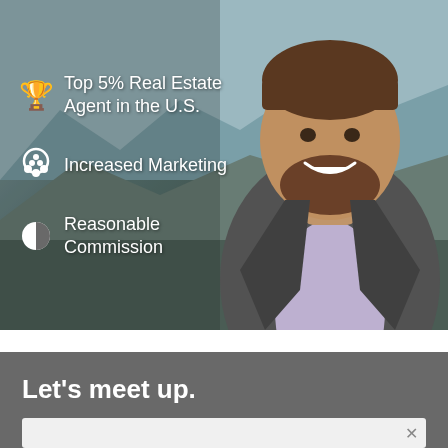[Figure (photo): Professional headshot of a smiling man with a beard wearing a gray suit jacket and lavender shirt, with an outdoor blurred background]
🏆 Top 5% Real Estate Agent in the U.S.
🎨 Increased Marketing
📊 Reasonable Commission
Let's meet up.